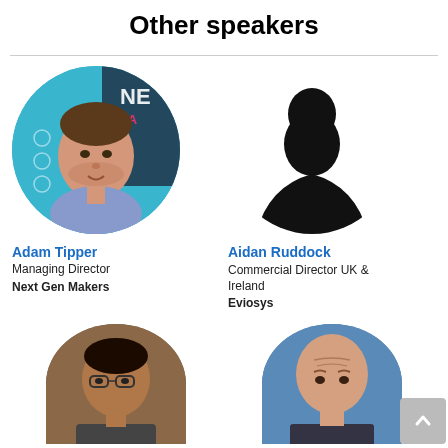Other speakers
[Figure (photo): Circular photo of Adam Tipper, a man in a blue shirt against a colorful branded background]
Adam Tipper
Managing Director
Next Gen Makers
[Figure (photo): Silhouette placeholder image for Aidan Ruddock]
Aidan Ruddock
Commercial Director UK & Ireland
Eviosys
[Figure (photo): Circular photo of a man with glasses, partially visible at bottom left]
[Figure (photo): Circular photo of a bald man against a blue background, partially visible at bottom right]